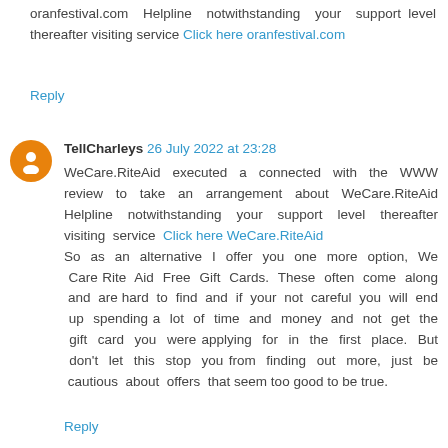oranfestival.com Helpline notwithstanding your support level thereafter visiting service Click here oranfestival.com
Reply
TellCharleys 26 July 2022 at 23:28
WeCare.RiteAid executed a connected with the WWW review to take an arrangement about WeCare.RiteAid Helpline notwithstanding your support level thereafter visiting service Click here WeCare.RiteAid
So as an alternative I offer you one more option, We Care Rite Aid Free Gift Cards. These often come along and are hard to find and if your not careful you will end up spending a lot of time and money and not get the gift card you were applying for in the first place. But don't let this stop you from finding out more, just be cautious about offers that seem too good to be true.
Reply